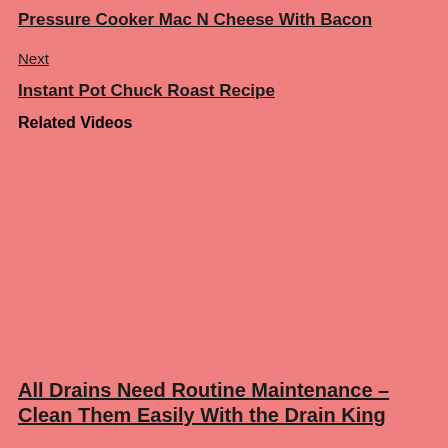Pressure Cooker Mac N Cheese With Bacon
Next
Instant Pot Chuck Roast Recipe
Related Videos
[Figure (other): Video thumbnail placeholder area (salmon/pink background, no image visible)]
All Drains Need Routine Maintenance – Clean Them Easily With the Drain King